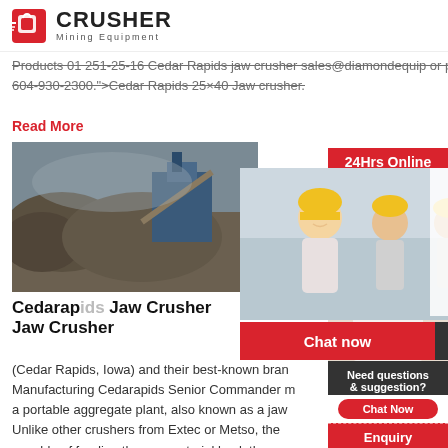CRUSHER Mining Equipment
Products 01 251-25-16 Cedar Rapids jaw crusher sales@diamondequip or phone us at a rate of 604-930-2300.">Cedar Rapids 25×40 Jaw crusher.
Read More
[Figure (photo): Mining/crusher operation site with rock and machinery]
[Figure (infographic): Live Chat overlay with workers in hard hats, LIVE CHAT title in red, Click for a Free Consultation subtitle, close button]
Cedarap... Jaw Crusher
(Cedar Rapids, Iowa) and their best-known bran... Manufacturing Cedarapids Senior Commander m... a portable aggregate plant, also known as a jaw... Unlike other crushers from Extec or Metso, the ... capable of feeding the raw material back throug... until the desired size of aggregate material is re...
[Figure (infographic): Right sidebar: 24Hrs Online banner, woman with headset, Need questions & suggestion?, Chat Now button, Enquiry section, limingjlmofen@sina.com]